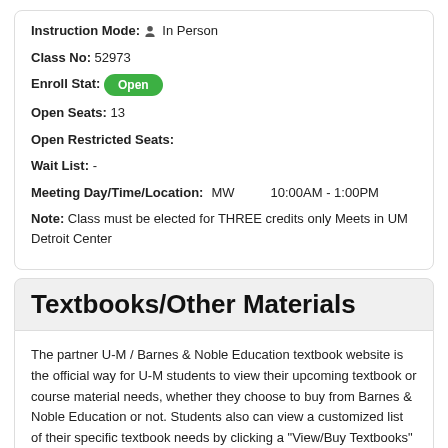Instruction Mode: In Person
Class No: 52973
Enroll Stat: Open
Open Seats: 13
Open Restricted Seats:
Wait List: -
Meeting Day/Time/Location: MW 10:00AM - 1:00PM
Note: Class must be elected for THREE credits only Meets in UM Detroit Center
Textbooks/Other Materials
The partner U-M / Barnes & Noble Education textbook website is the official way for U-M students to view their upcoming textbook or course material needs, whether they choose to buy from Barnes & Noble Education or not. Students also can view a customized list of their specific textbook needs by clicking a "View/Buy Textbooks" link in their course schedule in Wolverine Access.
Click the button below to view and buy textbooks for RCHUMS 334.102